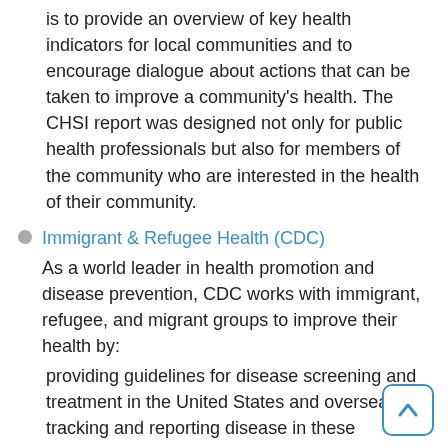is to provide an overview of key health indicators for local communities and to encourage dialogue about actions that can be taken to improve a community's health. The CHSI report was designed not only for public health professionals but also for members of the community who are interested in the health of their community.
Immigrant & Refugee Health (CDC)
As a world leader in health promotion and disease prevention, CDC works with immigrant, refugee, and migrant groups to improve their health by:
providing guidelines for disease screening and treatment in the United States and overseas
tracking and reporting disease in these populations
responding to disease outbreaks in the United States and overseas
advising U.S. partners on health care for refugee groups
educating and communicating with immigrant and